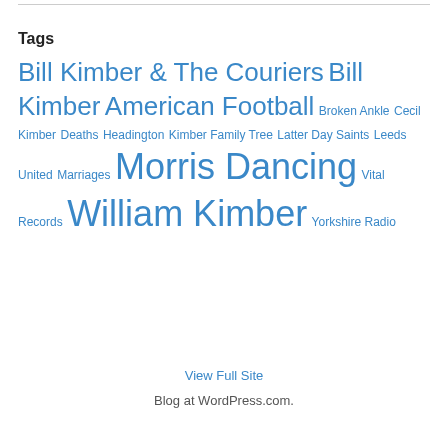Tags
Bill Kimber & The Couriers Bill Kimber American Football Broken Ankle Cecil Kimber Deaths Headington Kimber Family Tree Latter Day Saints Leeds United Marriages Morris Dancing Vital Records William Kimber Yorkshire Radio
View Full Site
Blog at WordPress.com.